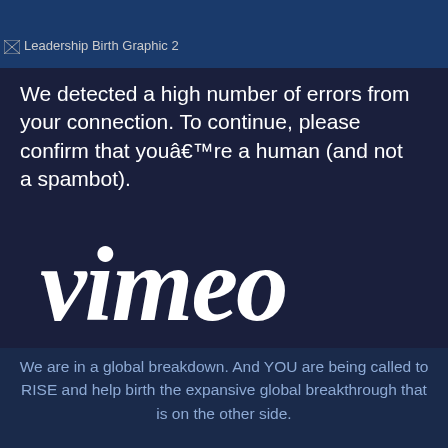[Figure (screenshot): Broken image icon with alt text 'Leadership Birth Graphic 2' on dark blue background]
We detected a high number of errors from your connection. To continue, please confirm that youâ€™re a human (and not a spambot).
[Figure (logo): Vimeo logo in white cursive script on dark navy background]
We are in a global breakdown. And YOU are being called to RISE and help birth the expansive global breakthrough that is on the other side.